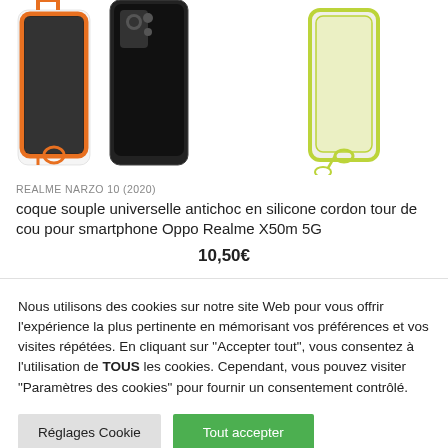[Figure (photo): Three phone cases (orange, black, yellow-green) with lanyards/cords shown against white background]
REALME NARZO 10 (2020)
coque souple universelle antichoc en silicone cordon tour de cou pour smartphone Oppo Realme X50m 5G
10,50€
Nous utilisons des cookies sur notre site Web pour vous offrir l'expérience la plus pertinente en mémorisant vos préférences et vos visites répétées. En cliquant sur "Accepter tout", vous consentez à l'utilisation de TOUS les cookies. Cependant, vous pouvez visiter "Paramètres des cookies" pour fournir un consentement contrôlé.
Réglages Cookie
Tout accepter